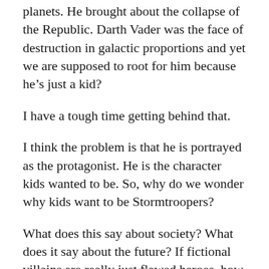planets. He brought about the collapse of the Republic. Darth Vader was the face of destruction in galactic proportions and yet we are supposed to root for him because he’s just a kid?
I have a tough time getting behind that.
I think the problem is that he is portrayed as the protagonist. He is the character kids wanted to be. So, why do we wonder why kids want to be Stormtroopers?
What does this say about society? What does it say about the future? If fictional villains are really just flawed heroes, how soon before real villains are viewed as flawed heroes? How soon will it be before evil is fully acceptable, as long as it’s used to fight greater